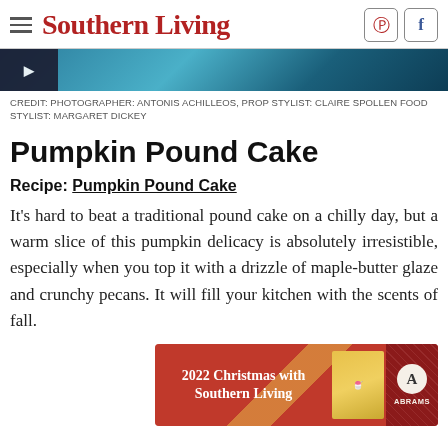Southern Living
[Figure (photo): Partial photo of a blue/teal marble or food surface, with a small dark thumbnail on the left]
CREDIT: PHOTOGRAPHER: ANTONIS ACHILLEOS, PROP STYLIST: CLAIRE SPOLLEN FOOD STYLIST: MARGARET DICKEY
Pumpkin Pound Cake
Recipe: Pumpkin Pound Cake
It's hard to beat a traditional pound cake on a chilly day, but a warm slice of this pumpkin delicacy is absolutely irresistible, especially when you top it with a drizzle of maple-butter glaze and crunchy pecans. It will fill your kitchen with the scents of fall.
[Figure (infographic): Advertisement banner: 2022 Christmas with Southern Living book ad, with Abrams publisher logo]